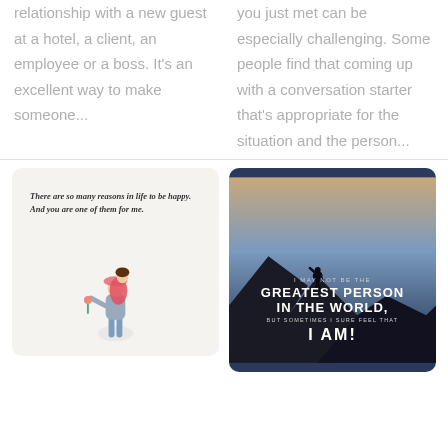relationship with a new guest at a hotel, a client, an employee or a boss. It's an excellent way to make someone...
you just met can be especially challenging. Some people find that coming up with a conversation starter that's appropriate for the situation and the person...
[Figure (illustration): Romantic card with light background, italic text reading 'There are so many reasons in life to be happy. And you are one of them for me.' with a couple silhouette illustration]
[Figure (illustration): Motivational card with dark blue/night background showing a person silhouette on a mountain peak with text: I MAY NOT BE THE GREATEST PERSON IN THE WORLD, BUT SOMETIMES I SURE FEEL THAT I AM!]